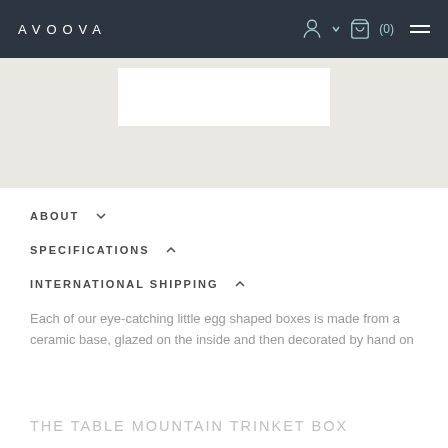AVOOVA
[Figure (screenshot): Product image area with light beige background and a white rectangular image placeholder in the center]
ABOUT
SPECIFICATIONS
INTERNATIONAL SHIPPING
Each of our eye-catching little egg shaped boxes is made from a ceramic base, glazed on the inside and then decorated by hand on
THE TABLE MOUNTAIN TRINKET BOX